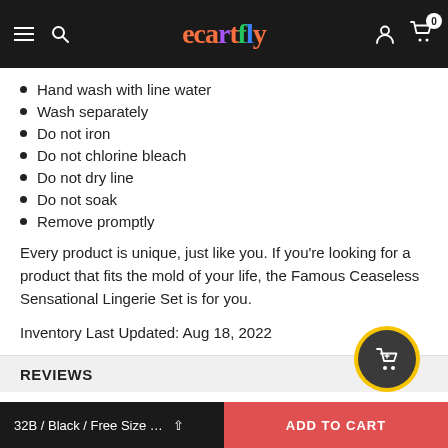ecartfly — navigation header with logo, menu, search, account, and cart icons
Hand wash with line water
Wash separately
Do not iron
Do not chlorine bleach
Do not dry line
Do not soak
Remove promptly
Every product is unique, just like you. If you're looking for a product that fits the mold of your life, the Famous Ceaseless Sensational Lingerie Set is for you.
Inventory Last Updated: Aug 18, 2022
REVIEWS
32B / Black / Free Size … ▲   ADD TO CART